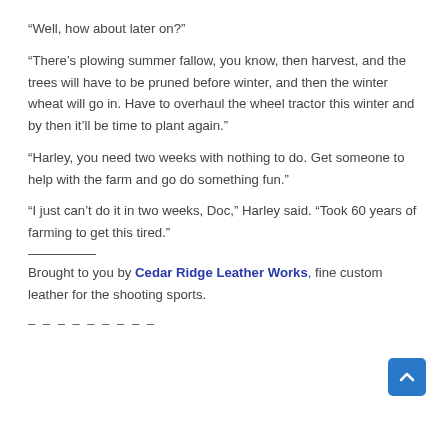“Well, how about later on?”
“There’s plowing summer fallow, you know, then harvest, and the trees will have to be pruned before winter, and then the winter wheat will go in. Have to overhaul the wheel tractor this winter and by then it’ll be time to plant again.”
“Harley, you need two weeks with nothing to do. Get someone to help with the farm and go do something fun.”
“I just can’t do it in two weeks, Doc,” Harley said. “Took 60 years of farming to get this tired.”
Brought to you by Cedar Ridge Leather Works, fine custom leather for the shooting sports.
- - - - - - - - -